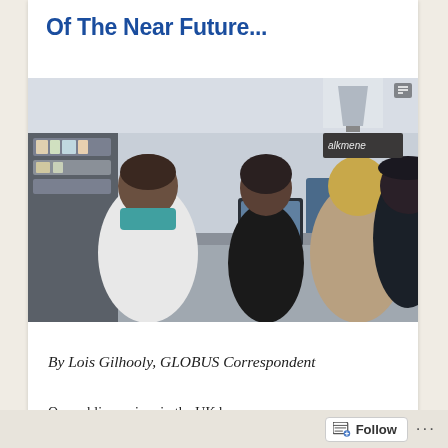Of The Near Future...
[Figure (photo): Pharmacy scene with a pharmacist in white coat and teal scarf serving customers across a counter; other customers and shelves of products visible in background]
By Lois Gilhooly, GLOBUS Correspondent
Our public services in the UK have
Follow ...